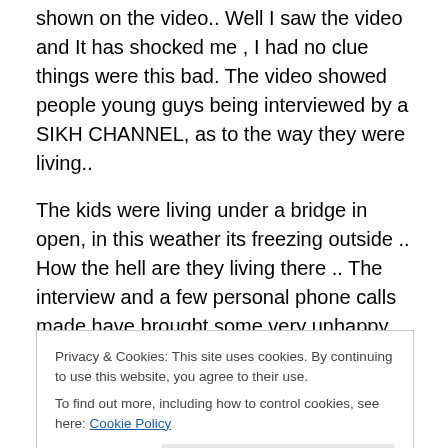shown on the video.. Well I saw the video and It has shocked me , I had no clue things were this bad. The video showed people young guys being interviewed by a SIKH CHANNEL, as to the way they were living..
The kids were living under a bridge in open, in this weather its freezing outside .. How the hell are they living there .. The interview and a few personal phone calls made have brought some very unhappy and sad things out in the open. The pathetic situation of our boys and it's not just the sikh or Punjabi boys it's a lot of people from
Privacy & Cookies: This site uses cookies. By continuing to use this website, you agree to their use.
To find out more, including how to control cookies, see here: Cookie Policy
open just a little distance from a Sikh Gurdwara Sahib